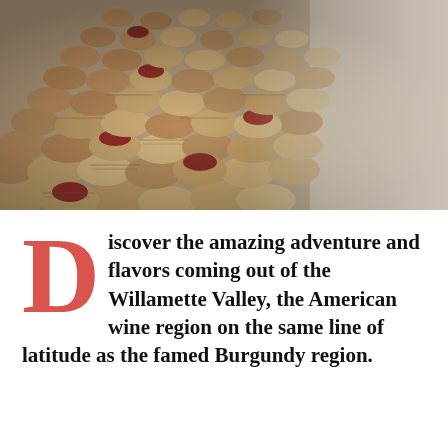[Figure (photo): Close-up photograph of wine corks arranged in a spherical or fan-like sculpture, showing the ends of many cylindrical wine corks with printed text and red-dipped tops, against a light grey background.]
Discover the amazing adventure and flavors coming out of the Willamette Valley, the American wine region on the same line of latitude as the famed Burgundy region.